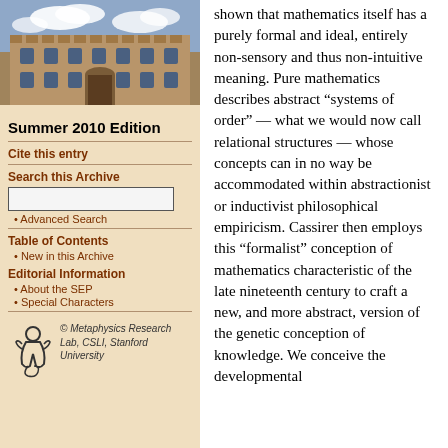[Figure (photo): Photograph of a historic university building (stone architecture) with blue sky and clouds]
Summer 2010 Edition
Cite this entry
Search this Archive
Advanced Search
Table of Contents
New in this Archive
Editorial Information
About the SEP
Special Characters
[Figure (logo): Metaphysics Research Lab logo with stylized figure]
© Metaphysics Research Lab, CSLI, Stanford University
shown that mathematics itself has a purely formal and ideal, entirely non-sensory and thus non-intuitive meaning. Pure mathematics describes abstract “systems of order” — what we would now call relational structures — whose concepts can in no way be accommodated within abstractionist or inductivist philosophical empiricism. Cassirer then employs this “formalist” conception of mathematics characteristic of the late nineteenth century to craft a new, and more abstract, version of the genetic conception of knowledge. We conceive the developmental